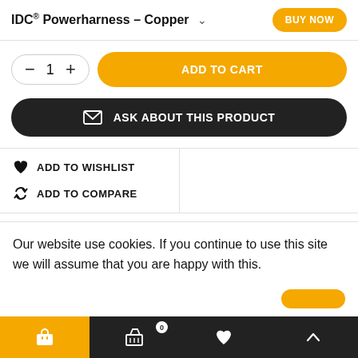IDC® Powerharness - Copper  ∨  BUY NOW
– 1 +  ADD TO CART
✉ ASK ABOUT THIS PRODUCT
♥ ADD TO WISHLIST
↻ ADD TO COMPARE
Description   Reviews
Our website use cookies. If you continue to use this site we will assume that you are happy with this.
🛒  🛒 0  ♥  ∧